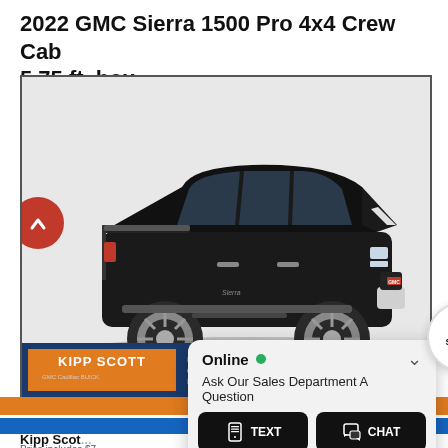2022 GMC Sierra 1500 Pro 4x4 Crew Cab 5.75 ft. box
[Figure (photo): Black 2022 GMC Sierra 1500 Pro 4x4 Crew Cab truck, side profile view, with Kipp Scott dealership logo bar at the bottom of the image frame. A red circle back-navigation arrow is overlaid on the left side.]
[Figure (screenshot): Kipp Scott dealership chat widget showing 'Online' status with green dot, 'Ask Our Sales Department A Question' text, and two dark buttons labeled TEXT and CHAT with icons.]
Kipp Scott
Price includes $7...